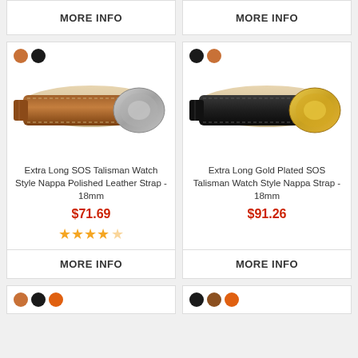MORE INFO
MORE INFO
[Figure (photo): Brown leather watch strap with silver metal clasp/buckle, SOS Talisman style, Nappa Polished Leather, 18mm]
[Figure (photo): Black leather watch strap with gold metal clasp/buckle, Gold Plated SOS Talisman style, Nappa Leather, 18mm]
Extra Long SOS Talisman Watch Style Nappa Polished Leather Strap - 18mm
$71.69
★★★★★
MORE INFO
Extra Long Gold Plated SOS Talisman Watch Style Nappa Strap - 18mm
$91.26
MORE INFO